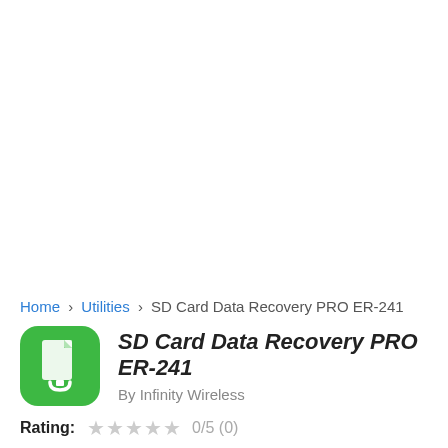Home › Utilities › SD Card Data Recovery PRO ER-241
SD Card Data Recovery PRO ER-241
By Infinity Wireless
Rating: 0/5 (0)